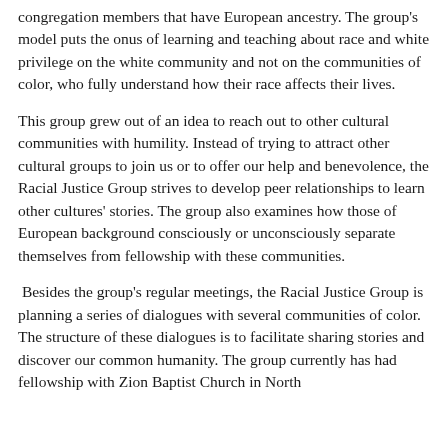congregation members that have European ancestry. The group's model puts the onus of learning and teaching about race and white privilege on the white community and not on the communities of color, who fully understand how their race affects their lives.
This group grew out of an idea to reach out to other cultural communities with humility. Instead of trying to attract other cultural groups to join us or to offer our help and benevolence, the Racial Justice Group strives to develop peer relationships to learn other cultures' stories. The group also examines how those of European background consciously or unconsciously separate themselves from fellowship with these communities.
Besides the group's regular meetings, the Racial Justice Group is planning a series of dialogues with several communities of color. The structure of these dialogues is to facilitate sharing stories and discover our common humanity. The group currently has had fellowship with Zion Baptist Church in North Minneapolis and has come to establish dialogues with